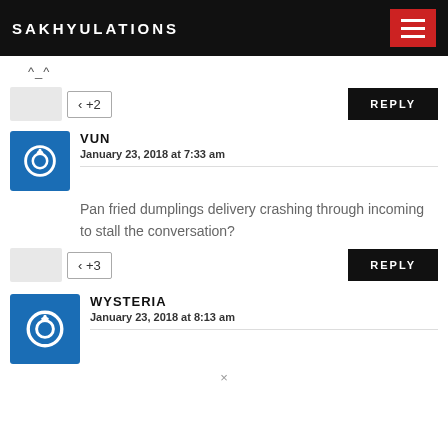SAKHYULATIONS
^_^
+2  REPLY
VUN
January 23, 2018 at 7:33 am
Pan fried dumplings delivery crashing through incoming to stall the conversation?
+3  REPLY
WYSTERIA
January 23, 2018 at 8:13 am